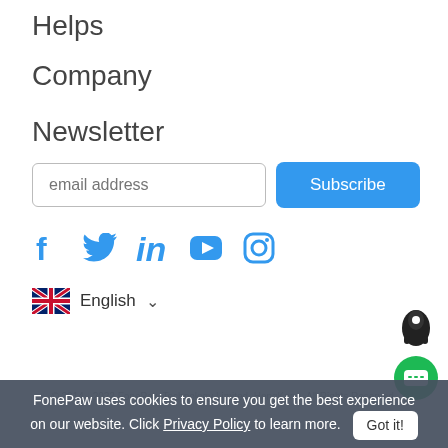Helps
Company
Newsletter
email address  Subscribe
[Figure (infographic): Social media icons: Facebook, Twitter, LinkedIn, YouTube, Instagram in blue]
🇬🇧 English ∨
© 2014 - 2022 FonePaw Technology Limited, HongKong. All Rights Reserved.
FonePaw uses cookies to ensure you get the best experience on our website. Click Privacy Policy to learn more.  Got it!